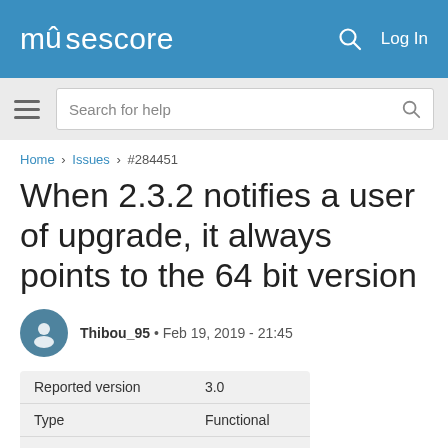musescore  Log In
Search for help
Home › Issues › #284451
When 2.3.2 notifies a user of upgrade, it always points to the 64 bit version
Thibou_95 • Feb 19, 2019 - 21:45
|  |  |
| --- | --- |
| Reported version | 3.0 |
| Type | Functional |
| Frequency | Many |
| Severity | S3- Major |